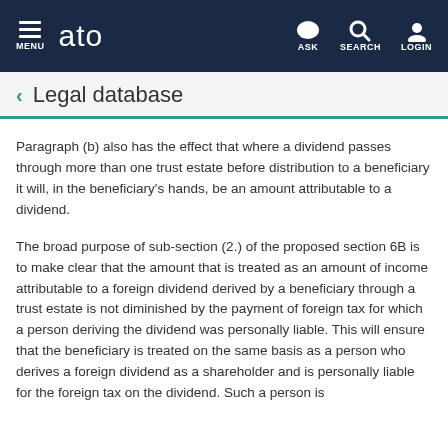MENU | ato | ASK | SEARCH | LOGIN
Legal database
Paragraph (b) also has the effect that where a dividend passes through more than one trust estate before distribution to a beneficiary it will, in the beneficiary's hands, be an amount attributable to a dividend.
The broad purpose of sub-section (2.) of the proposed section 6B is to make clear that the amount that is treated as an amount of income attributable to a foreign dividend derived by a beneficiary through a trust estate is not diminished by the payment of foreign tax for which a person deriving the dividend was personally liable. This will ensure that the beneficiary is treated on the same basis as a person who derives a foreign dividend as a shareholder and is personally liable for the foreign tax on the dividend. Such a person is